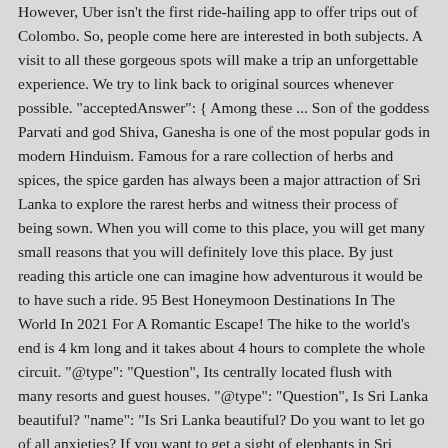However, Uber isn't the first ride-hailing app to offer trips out of Colombo. So, people come here are interested in both subjects. A visit to all these gorgeous spots will make a trip an unforgettable experience. We try to link back to original sources whenever possible. "acceptedAnswer": { Among these ... Son of the goddess Parvati and god Shiva, Ganesha is one of the most popular gods in modern Hinduism. Famous for a rare collection of herbs and spices, the spice garden has always been a major attraction of Sri Lanka to explore the rarest herbs and witness their process of being sown. When you will come to this place, you will get many small reasons that you will definitely love this place. By just reading this article one can imagine how adventurous it would be to have such a ride. 95 Best Honeymoon Destinations In The World In 2021 For A Romantic Escape! The hike to the world's end is 4 km long and it takes about 4 hours to complete the whole circuit. "@type": "Question", Its centrally located flush with many resorts and guest houses. "@type": "Question", Is Sri Lanka beautiful? "name": "Is Sri Lanka beautiful? Do you want to let go of all anxieties? If you want to get a sight of elephants in Sri Lanka, then put Udawalawe National Park on your list because it is hard not to notice an elephant here. Just beside the statues, the code of conduct is also inscribed which was to be